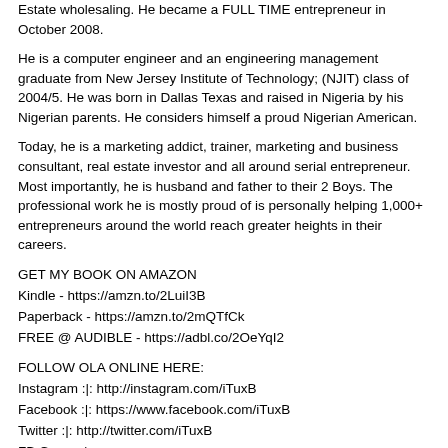Estate wholesaling. He became a FULL TIME entrepreneur in October 2008.
He is a computer engineer and an engineering management graduate from New Jersey Institute of Technology; (NJIT) class of 2004/5. He was born in Dallas Texas and raised in Nigeria by his Nigerian parents. He considers himself a proud Nigerian American.
Today, he is a marketing addict, trainer, marketing and business consultant, real estate investor and all around serial entrepreneur. Most importantly, he is husband and father to their 2 Boys. The professional work he is mostly proud of is personally helping 1,000+ entrepreneurs around the world reach greater heights in their careers.
GET MY BOOK ON AMAZON
Kindle - https://amzn.to/2LuiI3B
Paperback - https://amzn.to/2mQTfCk
FREE @ AUDIBLE - https://adbl.co/2OeYqI2
FOLLOW OLA ONLINE HERE:
Instagram :|: http://instagram.com/iTuxB
Facebook :|: https://www.facebook.com/iTuxB
Twitter :|: http://twitter.com/iTuxB
FB Group :|: https://www.facebook.com/groups/smartrealestatewholesaling/
PODCAST
iTunes :|: http://apple.co/2ktmxnn
Stitcher Radio :|: http://bit.ly/2j56O1N